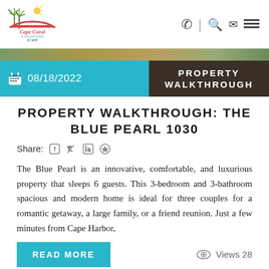[Figure (logo): Cape Coral 4 Vacations by MHB logo with palm trees and red roof]
Navigation icons: phone, divider, search, email, menu
[Figure (infographic): Date banner showing 08/18/2022 on teal background and PROPERTY WALKTHROUGH on dark brown background]
PROPERTY WALKTHROUGH: THE BLUE PEARL 1030
Share: [social icons for Facebook, Twitter, LinkedIn, Pinterest]
The Blue Pearl is an innovative, comfortable, and luxurious property that sleeps 6 guests. This 3-bedroom and 3-bathroom spacious and modern home is ideal for three couples for a romantic getaway, a large family, or a friend reunion. Just a few minutes from Cape Harbor,
READ MORE
Views 28